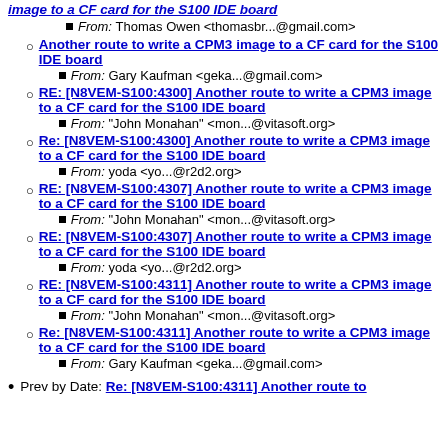image to a CF card for the S100 IDE board (link)
From: Thomas Owen <thomasbr...@gmail.com>
Another route to write a CPM3 image to a CF card for the S100 IDE board
From: Gary Kaufman <geka...@gmail.com>
RE: [N8VEM-S100:4300] Another route to write a CPM3 image to a CF card for the S100 IDE board
From: "John Monahan" <mon...@vitasoft.org>
Re: [N8VEM-S100:4300] Another route to write a CPM3 image to a CF card for the S100 IDE board
From: yoda <yo...@r2d2.org>
RE: [N8VEM-S100:4307] Another route to write a CPM3 image to a CF card for the S100 IDE board
From: "John Monahan" <mon...@vitasoft.org>
RE: [N8VEM-S100:4307] Another route to write a CPM3 image to a CF card for the S100 IDE board
From: yoda <yo...@r2d2.org>
RE: [N8VEM-S100:4311] Another route to write a CPM3 image to a CF card for the S100 IDE board
From: "John Monahan" <mon...@vitasoft.org>
Re: [N8VEM-S100:4311] Another route to write a CPM3 image to a CF card for the S100 IDE board
From: Gary Kaufman <geka...@gmail.com>
Prev by Date: Re: [N8VEM-S100:4311] Another route to